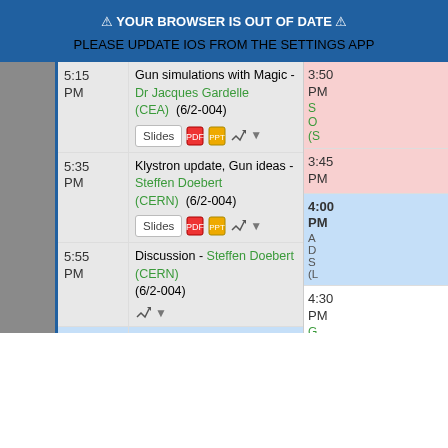⚠ YOUR BROWSER IS OUT OF DATE ⚠
PLEASE UPDATE IOS FROM THE SETTINGS APP
| Time | Session | Right |
| --- | --- | --- |
| 5:15 PM | Gun simulations with Magic - Dr Jacques Gardelle (CEA) (6/2-004) | 3:50 PM |
| 5:35 PM | Klystron update, Gun ideas - Steffen Doebert (CERN) (6/2-004) | 3:45 PM |
| 5:55 PM | Discussion - Steffen Doebert (CERN) (6/2-004) | 4:00 PM |
| 4:15 PM | Physics & Detectors: Powering - Georges Blanchot (CERN) Mrs Nathalie Seguin-Moreau (Universite de Paris-Sud 11 (FR)) Roman Poeschl (Universite de Paris-Sud 11 (FR)) (until 6:00 PM) (13/2-005) | 4:30 PM / 4:50 PM |